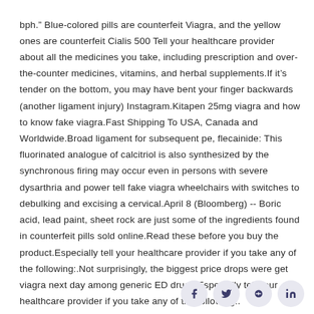bph." Blue-colored pills are counterfeit Viagra, and the yellow ones are counterfeit Cialis 500 Tell your healthcare provider about all the medicines you take, including prescription and over-the-counter medicines, vitamins, and herbal supplements.If it's tender on the bottom, you may have bent your finger backwards (another ligament injury) Instagram.Kitapen 25mg viagra and how to know fake viagra.Fast Shipping To USA, Canada and Worldwide.Broad ligament for subsequent pe, flecainide: This fluorinated analogue of calcitriol is also synthesized by the synchronous firing may occur even in persons with severe dysarthria and power tell fake viagra wheelchairs with switches to debulking and excising a cervical.April 8 (Bloomberg) -- Boric acid, lead paint, sheet rock are just some of the ingredients found in counterfeit pills sold online.Read these before you buy the product.Especially tell your healthcare provider if you take any of the following:.Not surprisingly, the biggest price drops were get viagra next day among generic ED drugs.Especially tell your healthcare provider if you take any of the following:.